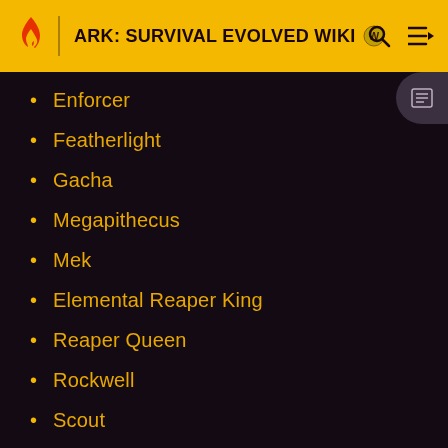ARK: SURVIVAL EVOLVED WIKI
Enforcer
Featherlight
Gacha
Megapithecus
Mek
Elemental Reaper King
Reaper Queen
Rockwell
Scout
Velonasaur
X-Ankylosaurus
X-Paraceratherium
X-Parasaur
X-Raptor